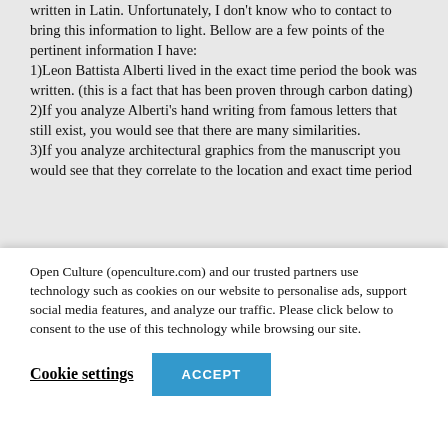written in Latin. Unfortunately, I don't know who to contact to bring this information to light. Bellow are a few points of the pertinent information I have:
1)Leon Battista Alberti lived in the exact time period the book was written. (this is a fact that has been proven through carbon dating)
2)If you analyze Alberti's hand writing from famous letters that still exist, you would see that there are many similarities.
3)If you analyze architectural graphics from the manuscript you would see that they correlate to the location and exact time period
Open Culture (openculture.com) and our trusted partners use technology such as cookies on our website to personalise ads, support social media features, and analyze our traffic. Please click below to consent to the use of this technology while browsing our site.
Cookie settings
ACCEPT